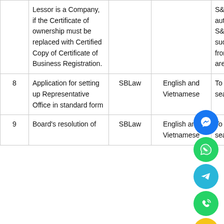| # | Document | Prepared by | Language | Notes |
| --- | --- | --- | --- | --- |
|  | Lessor is a Company, if the Certificate of ownership must be replaced with Certified Copy of Certificate of Business Registration. |  |  | S&B Law or authorize a staff of S&B Law to obtain such documents from Lessor, copies are required |
| 8 | Application for setting up Representative Office in standard form | SBLaw | English and Vietnamese | To be signed and sealed by CLIENT |
| 9 | Board's resolution of | SBLaw | English and Vietnamese | To be signed and sealed by |